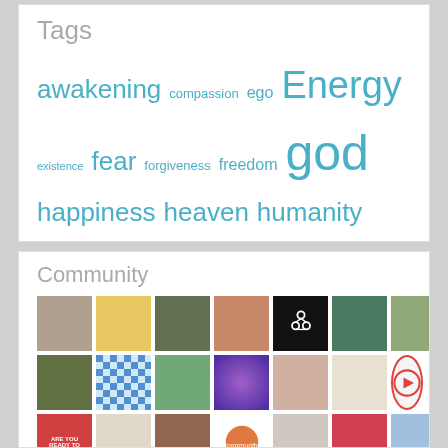Tags
awakening compassion ego Energy existence fear forgiveness freedom god happiness heaven humanity Hypnosis jesus life light love Meditation mind money peace purpose Society soul source spiritual spirituality Teaching truth wisdom
Community
[Figure (photo): Grid of community member profile photos and avatars]